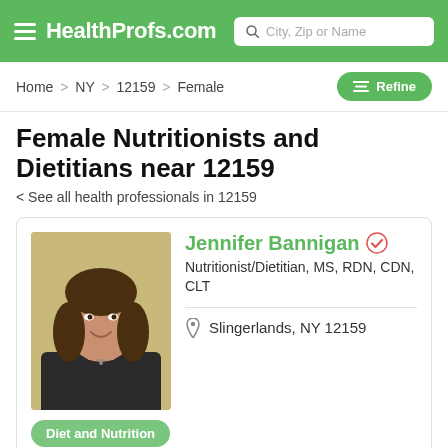HealthProfs.com | City, Zip or Name
Home > NY > 12159 > Female
Female Nutritionists and Dietitians near 12159
< See all health professionals in 12159
[Figure (photo): Profile photo of Jennifer Bannigan, a woman with shoulder-length brown hair, smiling, wearing a dark blazer, in front of a yellow-green background]
Jennifer Bannigan
Nutritionist/Dietitian, MS, RDN, CDN, CLT
Slingerlands, NY 12159
Diet and Nutrition
Have you been experiencing unexplained food sensitivities,